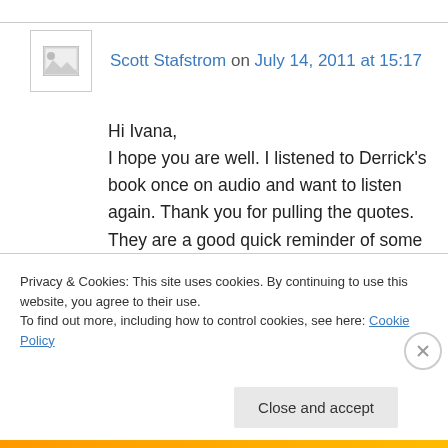Scott Stafstrom on July 14, 2011 at 15:17
Hi Ivana,
I hope you are well. I listened to Derrick’s book once on audio and want to listen again. Thank you for pulling the quotes. They are a good quick reminder of some of the ideas in the manifesto. My favorite quote is “It’s a big world. You can loudly leave out 99% of it. People in that 1 % will come to you because you have shown how
Privacy & Cookies: This site uses cookies. By continuing to use this website, you agree to their use.
To find out more, including how to control cookies, see here: Cookie Policy
Close and accept